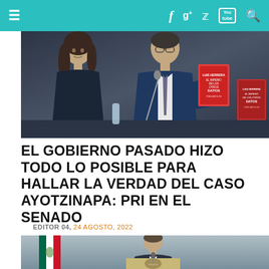≡  f  g+  🐦  YouTube  🔍
[Figure (photo): Two people seated at a table — a woman in a dark dress on the left, and a man in a suit holding up a red book on the right. A red book titled 'El Imperio de los Otros Datos' is visible on the right side of the image.]
EL GOBIERNO PASADO HIZO TODO LO POSIBLE PARA HALLAR LA VERDAD DEL CASO AYOTZINAPA: PRI EN EL SENADO
EDITOR 04, 24 AGOSTO, 2022
[Figure (photo): A man in a suit speaking at a podium with the Mexican coat of arms, with the Mexican flag visible to the left, against a light grey background.]